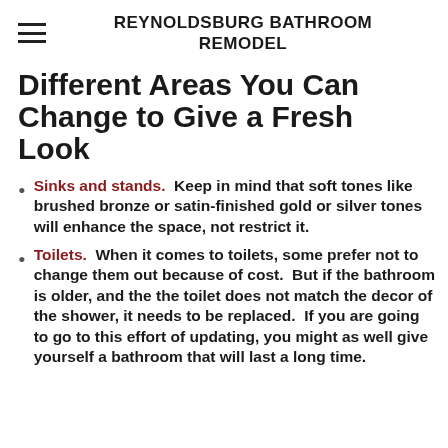REYNOLDSBURG BATHROOM REMODEL
Different Areas You Can Change to Give a Fresh Look
Sinks and stands.  Keep in mind that soft tones like brushed bronze or satin-finished gold or silver tones will enhance the space, not restrict it.
Toilets.  When it comes to toilets, some prefer not to change them out because of cost.  But if the bathroom is older, and the the toilet does not match the decor of the shower, it needs to be replaced.  If you are going to go to this effort of updating, you might as well give yourself a bathroom that will last a long time.